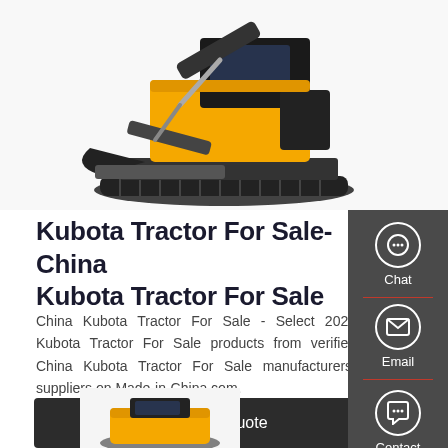[Figure (photo): A yellow and black Kubota mini excavator/compact track loader photographed against a white background, showing the machine from a front-side angle with bucket attachment and rubber tracks.]
Kubota Tractor For Sale-China Kubota Tractor For Sale
China Kubota Tractor For Sale - Select 2021 Kubota Tractor For Sale products from verified China Kubota Tractor For Sale manufacturers, suppliers on Made-in-China.com.
[Figure (infographic): Side panel with dark gray background containing three contact icons: Chat (headset icon), Email (envelope icon), Contact (speech bubble icon), separated by red divider lines.]
Get a Quote
[Figure (photo): Partial view of a yellow Kubota machine/equipment at the bottom of the page.]